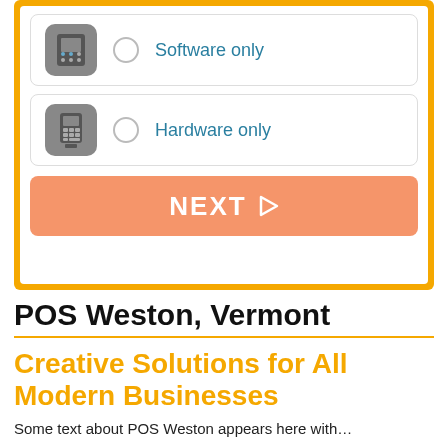[Figure (screenshot): UI widget with yellow border showing two selection options ('Software only' and 'Hardware only') each with a grey icon box and radio button, plus an orange 'NEXT ▷' button.]
POS Weston, Vermont
Creative Solutions for All Modern Businesses
Some text about POS Weston appears here with...